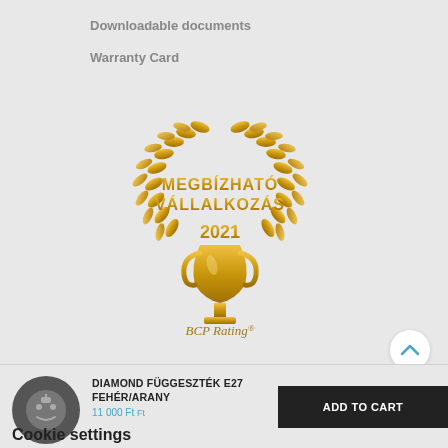Downloadable documents
Warranty Card
[Figure (logo): BCP Rating award badge - Megbízható Vállalkozás 2021, gold laurel wreath with trophy]
DIAMOND FÜGGESZTÉK E27 FEHÉR/ARANY
Cookie settings